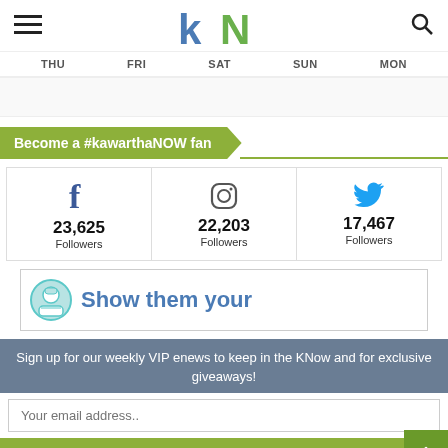kN (kawarthaNOW logo)
THU  FRI  SAT  SUN  MON
Become a #kawarthaNOW fan
| Facebook | Instagram | Twitter |
| --- | --- | --- |
| 23,625 Followers | 22,203 Followers | 17,467 Followers |
[Figure (infographic): Partial ad banner showing a cartoon mascot and text 'Show them your']
Sign up for our weekly VIP enews to keep in the KNow and for exclusive giveaways!
Your email address..
SUBSCRIBE